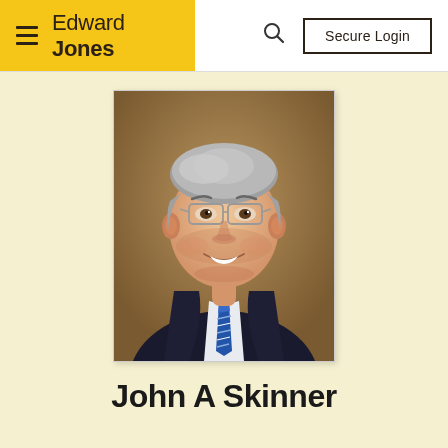[Figure (logo): Edward Jones logo with yellow background, hamburger menu icon, and 'Edward Jones' text in dark brown]
Secure Login
[Figure (photo): Professional headshot of a middle-aged man with gray hair, glasses, wearing a dark suit jacket with a blue striped tie, smiling at the camera against a warm brown background]
John A Skinner